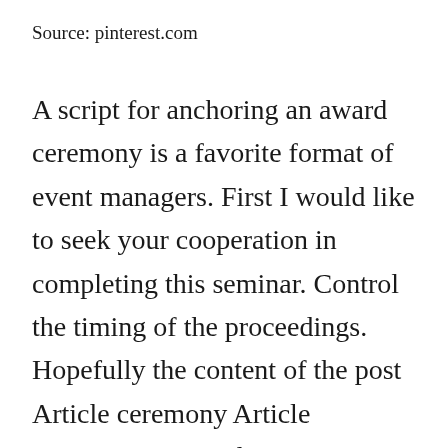Source: pinterest.com
A script for anchoring an award ceremony is a favorite format of event managers. First I would like to seek your cooperation in completing this seminar. Control the timing of the proceedings. Hopefully the content of the post Article ceremony Article inauguration Article script. Great Opening lines for Masters of Ceremony.